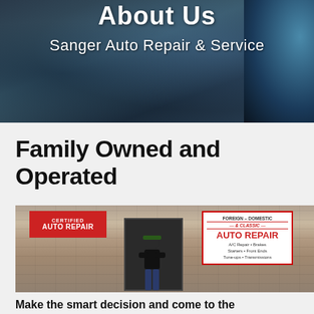About Us
Sanger Auto Repair & Service
Family Owned and Operated
[Figure (photo): Exterior storefront of Sanger Auto Repair showing brick building, signs for Certified Auto Repair and Foreign-Domestic & Classic Auto Repair, glass doors, and a man standing with arms crossed in front of the shop.]
Make the smart decision and come to the